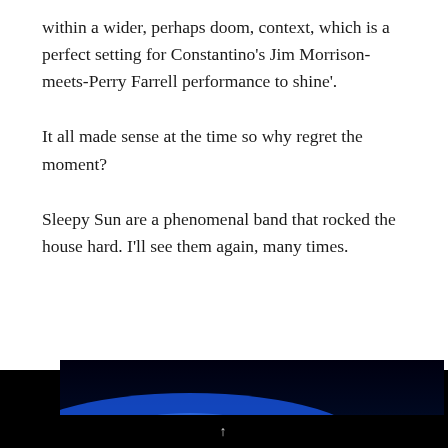within a wider, perhaps doom, context, which is a perfect setting for Constantino's Jim Morrison-meets-Perry Farrell performance to shine'.
It all made sense at the time so why regret the moment?
Sleepy Sun are a phenomenal band that rocked the house hard. I'll see them again, many times.
[Figure (photo): Dark stage photo with blue lighting visible at the bottom portion of the image, black background predominating.]